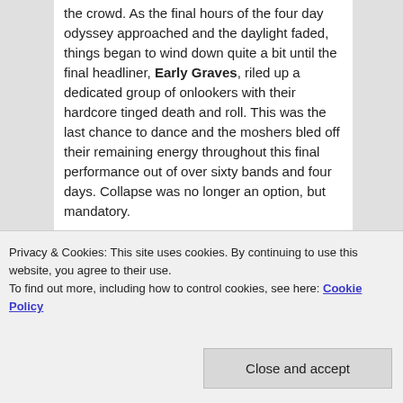the crowd. As the final hours of the four day odyssey approached and the daylight faded, things began to wind down quite a bit until the final headliner, Early Graves, riled up a dedicated group of onlookers with their hardcore tinged death and roll. This was the last chance to dance and the moshers bled off their remaining energy throughout this final performance out of over sixty bands and four days. Collapse was no longer an option, but mandatory.
[Figure (photo): Concert photo showing performers on stage, one with red/orange hair and another with long dark hair, against a dark background with stage lighting]
Privacy & Cookies: This site uses cookies. By continuing to use this website, you agree to their use.
To find out more, including how to control cookies, see here: Cookie Policy